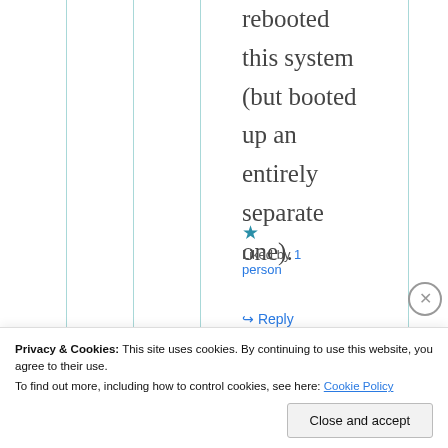rebooted this system (but booted up an entirely separate one).
★ Liked by 1 person
↪ Reply
Privacy & Cookies: This site uses cookies. By continuing to use this website, you agree to their use.
To find out more, including how to control cookies, see here: Cookie Policy
Close and accept